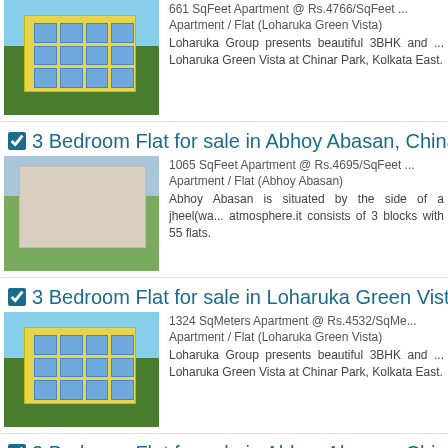[Figure (photo): Yellow apartment building with green surroundings - Loharuka Green Vista]
661 SqFeet Apartment @ Rs.4766/SqFeet ...
Apartment / Flat (Loharuka Green Vista)
Loharuka Group presents beautiful 3BHK and ... Loharuka Green Vista at Chinar Park, Kolkata East.
3 Bedroom Flat for sale in Abhoy Abasan, Chinar Par...
[Figure (photo): White apartment building by water - Abhoy Abasan]
1065 SqFeet Apartment @ Rs.4695/SqFeet ...
Apartment / Flat (Abhoy Abasan)
Abhoy Abasan is situated by the side of a jheel(wa... atmosphere.it consists of 3 blocks with 55 flats.
3 Bedroom Flat for sale in Loharuka Green Vista, Ch...
[Figure (photo): Yellow apartment building with green surroundings - Loharuka Green Vista]
1324 SqMeters Apartment @ Rs.4532/SqMe...
Apartment / Flat (Loharuka Green Vista)
Loharuka Group presents beautiful 3BHK and ... Loharuka Green Vista at Chinar Park, Kolkata East.
2 Bedroom Flat for sale in Abhoy Abasan, Chinar Par...